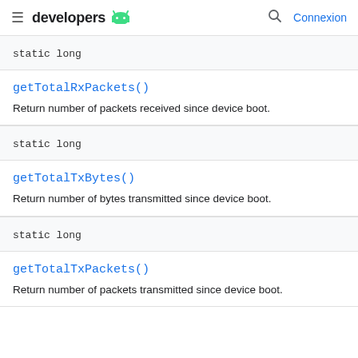developers [android logo] | Connexion
| Type | Method |
| --- | --- |
| static long | getTotalRxPackets() |
| static long | getTotalTxBytes() |
| static long | getTotalTxPackets() |
Return number of packets received since device boot.
Return number of bytes transmitted since device boot.
Return number of packets transmitted since device boot.